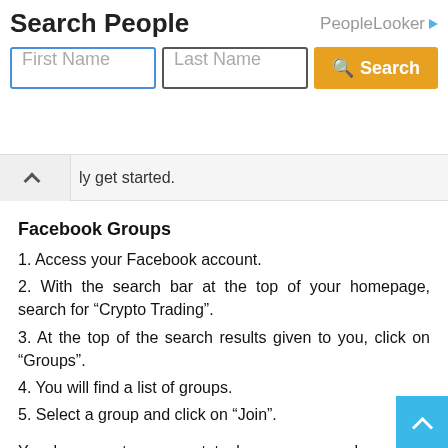[Figure (screenshot): Search People ad banner with First Name and Last Name input fields and an orange Search button. PeopleLooker branding on the right.]
ly get started.
Facebook Groups
1. Access your Facebook account.
2. With the search bar at the top of your homepage, search for “Crypto Trading”.
3. At the top of the search results given to you, click on “Groups”.
4. You will find a list of groups.
5. Select a group and click on “Join”.
You have sent a request to become a member of the group.
Once your request has been accepted, you will be allo… into the group.